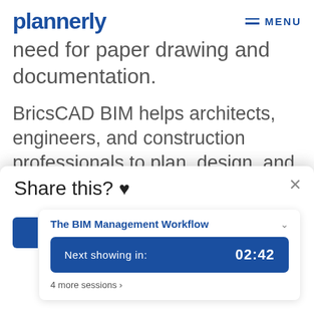plannerly  MENU
need for paper drawing and documentation.
BricsCAD BIM helps architects, engineers, and construction professionals to plan, design, and construct buildings. It also helps to communicate design information
[Figure (screenshot): Popup dialog with 'Share this? ♥' title, showing an inner card for 'The BIM Management Workflow' with a 'Next showing in: 02:42' button and '4 more sessions ›' link. A close (×) button is in the top right.]